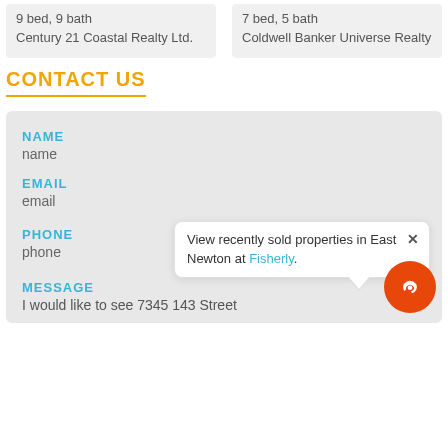9 bed, 9 bath
Century 21 Coastal Realty Ltd.
7 bed, 5 bath
Coldwell Banker Universe Realty
CONTACT US
NAME
name
EMAIL
email
PHONE
phone
View recently sold properties in East Newton at Fisherly.
MESSAGE
I would like to see 7345 143 Street